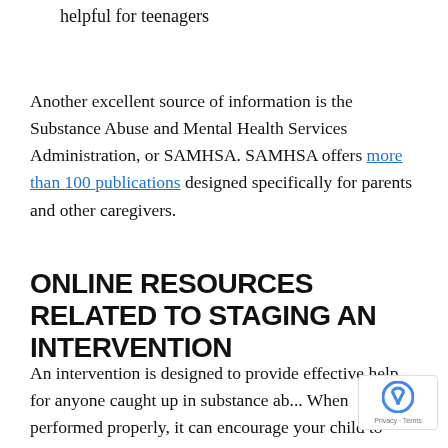helpful for teenagers
Another excellent source of information is the Substance Abuse and Mental Health Services Administration, or SAMHSA. SAMHSA offers more than 100 publications designed specifically for parents and other caregivers.
ONLINE RESOURCES RELATED TO STAGING AN INTERVENTION
An intervention is designed to provide effective help for anyone caught up in substance ab... When performed properly, it can encourage your child to seek needed recovery support.